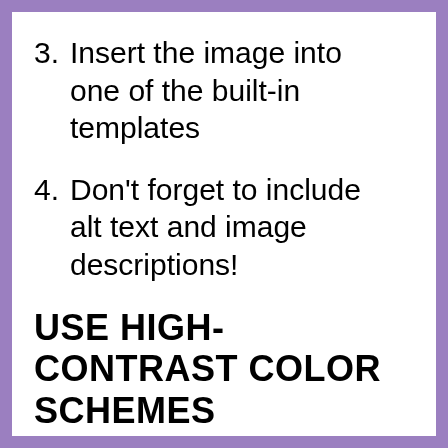3. Insert the image into one of the built-in templates
4. Don't forget to include alt text and image descriptions!
USE HIGH-CONTRAST COLOR SCHEMES